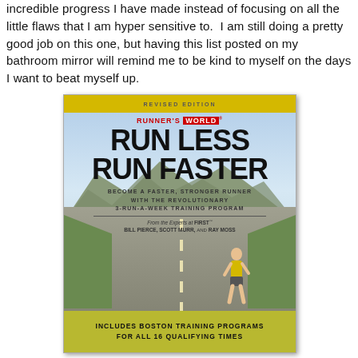incredible progress I have made instead of focusing on all the little flaws that I am hyper sensitive to.  I am still doing a pretty good job on this one, but having this list posted on my bathroom mirror will remind me to be kind to myself on the days I want to beat myself up.
[Figure (photo): Photo of the book cover 'Runner's World Run Less Run Faster' showing a runner on a road with mountains in the background. Book by Bill Pierce, Scott Murr, and Ray Moss. Includes Boston Training Programs for All 16 Qualifying Times.]